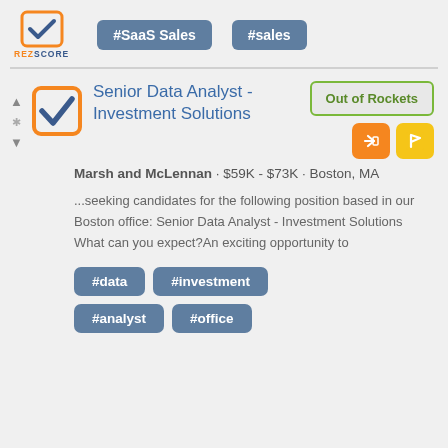[Figure (logo): RezScore logo with orange checkbox and blue/orange text]
#SaaS Sales
#sales
Senior Data Analyst - Investment Solutions
Out of Rockets
Marsh and McLennan · $59K - $73K · Boston, MA
...seeking candidates for the following position based in our Boston office: Senior Data Analyst - Investment Solutions What can you expect?An exciting opportunity to
#data
#investment
#analyst
#office